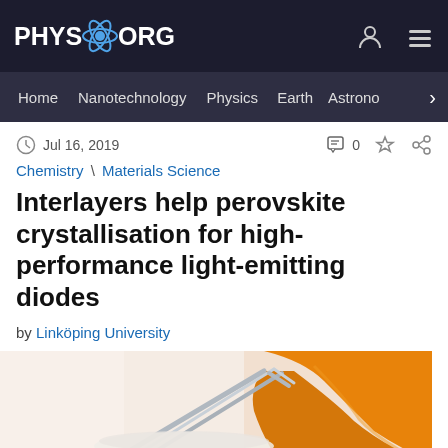PHYS.ORG
Home | Nanotechnology | Physics | Earth | Astronomy >
Jul 16, 2019   0
Chemistry \ Materials Science
Interlayers help perovskite crystallisation for high-performance light-emitting diodes
by Linköping University
[Figure (photo): Person wearing orange gloves handling material with metal tweezers on a light background]